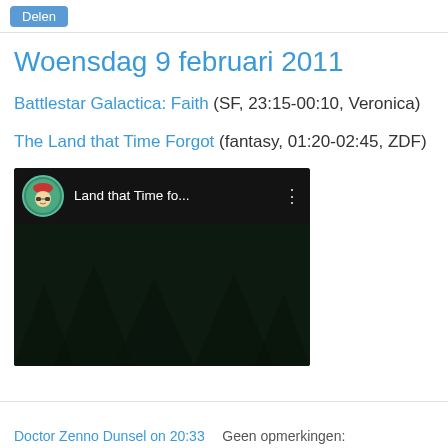Delen
Woensdag 9 februari 2011
Battlestar Galactica: Faith (SF, 23:15-00:10, Veronica)
The Land that Time Forgot (fantasy, 01:20-02:45, ZDF)
[Figure (screenshot): YouTube-style embedded video thumbnail showing 'Land that Time fo...' with a cartoon avatar icon, dark video background with trees, and a play button]
Doctor Zenno Dunsel on 20:33    Geen opmerkingen: